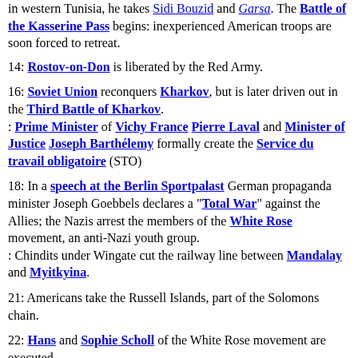in western Tunisia, he takes Sidi Bouzid and Garsa. The Battle of the Kasserine Pass begins: inexperienced American troops are soon forced to retreat.
14: Rostov-on-Don is liberated by the Red Army.
16: Soviet Union reconquers Kharkov, but is later driven out in the Third Battle of Kharkov. : Prime Minister of Vichy France Pierre Laval and Minister of Justice Joseph Barthélemy formally create the Service du travail obligatoire (STO)
18: In a speech at the Berlin Sportpalast German propaganda minister Joseph Goebbels declares a "Total War" against the Allies; the Nazis arrest the members of the White Rose movement, an anti-Nazi youth group. : Chindits under Wingate cut the railway line between Mandalay and Myitkyina.
21: Americans take the Russell Islands, part of the Solomons chain.
22: Hans and Sophie Scholl of the White Rose movement are executed.
22: Japanese POWs refuse to work at Featherston prisoner of